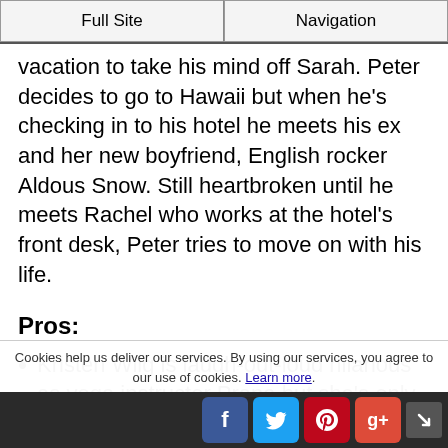Full Site | Navigation
vacation to take his mind off Sarah. Peter decides to go to Hawaii but when he's checking in to his hotel he meets his ex and her new boyfriend, English rocker Aldous Snow. Still heartbroken until he meets Rachel who works at the hotel’s front desk, Peter tries to move on with his life.
Pros:
Kristen Wiig is laugh-out-loud hilarious as yoga instructor Prana but she’s only in the extended version of the movie and for just one scene
O’ahu looks awesome thanks to some first rate...
Cookies help us deliver our services. By using our services, you agree to our use of cookies. Learn more.